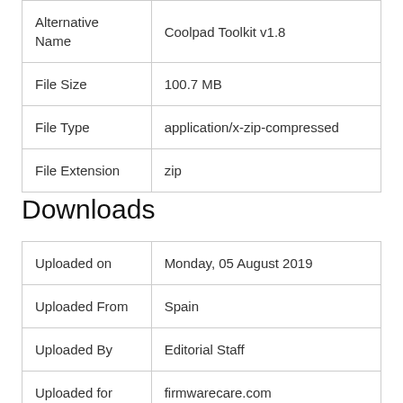| Alternative Name | Coolpad Toolkit v1.8 |
| File Size | 100.7 MB |
| File Type | application/x-zip-compressed |
| File Extension | zip |
Downloads
| Uploaded on | Monday, 05 August 2019 |
| Uploaded From | Spain |
| Uploaded By | Editorial Staff |
| Uploaded for | firmwarecare.com |